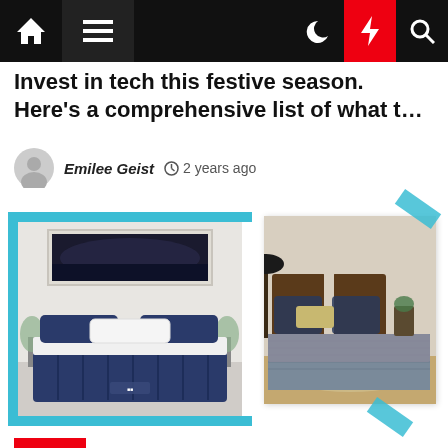Navigation bar with home, menu, dark mode, lightning, search icons
Invest in tech this festive season. Here's a comprehensive list of what t…
Emilee Geist  2 years ago
[Figure (photo): Blue navy mattress with pillows and landscape artwork on wall behind]
[Figure (photo): Bedroom with grey bedding on bed with wooden headboard and lamp]